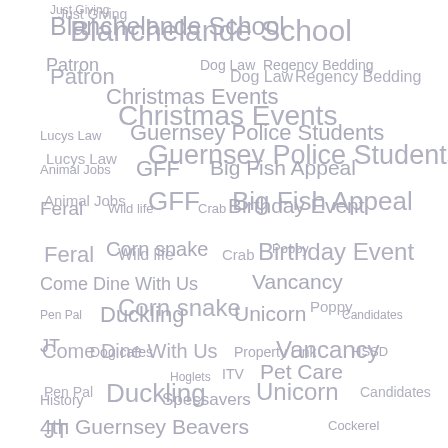[Figure (infographic): Tag cloud with various terms in different sizes and positions, all in a muted gray-purple color. Terms include: Blanchelande School, Just Giving, Patron, Dog Law, Regency Bedding, Christmas Events, Lucys Law, Guernsey Police Students, Animal Jobs, GFF, Big Fish Appeal, Feral, Wild life, Crab, Birthday Event, Corn snake, Poppy, Come Dine With Us, Vancancy, Pen Pal, Duckling, Unicorn, Candidates, JT, Dog cafes, Property Link, HSSD, Hoglets, ITV, Pet Care, History, Specsavers, 4th Guernsey Beavers, Cockerel, Photo Show, Pupy, Build Appeal, Trick or Pet Treat, Autism Guernsey]